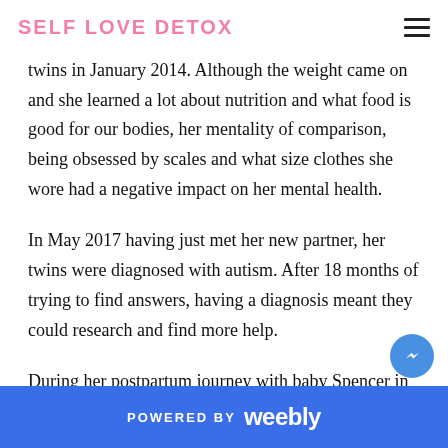SELF LOVE DETOX
twins in January 2014. Although the weight came on and she learned a lot about nutrition and what food is good for our bodies, her mentality of comparison, being obsessed by scales and what size clothes she wore had a negative impact on her mental health.
In May 2017 having just met her new partner, her twins were diagnosed with autism. After 18 months of trying to find answers, having a diagnosis meant they could research and find more help.
During her postpartum journey with baby Spencer in the Summer of 2018, Ana realised what it truly meant to
POWERED BY weebly